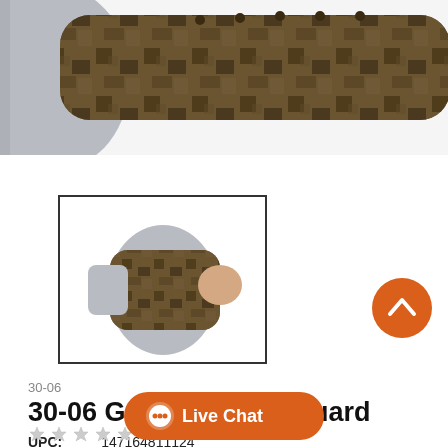[Figure (photo): Close-up photo of a camouflage arm guard/sleeve worn on an arm, showing brown/tan camo pattern with grey base layer, photographed against white background. Top portion shows detailed view cropped.]
[Figure (photo): Thumbnail image of the 30-06 Guardian Arm Guard showing a person's arm wearing the camouflage arm guard, with grey sleeve underneath and brown camo pattern over the forearm, with fist clenched.]
30-06
30-06 Guardian Arm Guard
UPC:  147164811124
No reviews  Write a Review
[Figure (other): Live Chat button - orange rounded rectangle with chat bubble icon and text 'Live Chat']